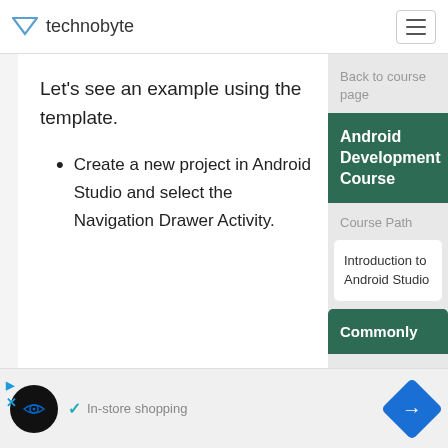technobyte
Let’s see an example using the template.
Create a new project in Android Studio and select the Navigation Drawer Activity.
Back to course page
Android Development Course
Course Path
Introduction to Android Studio
Commonly
In-store shopping